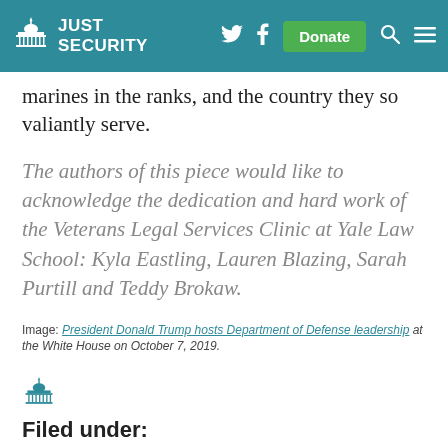Just Security — header with logo, Twitter, Facebook, Donate, Search, Menu
marines in the ranks, and the country they so valiantly serve.
The authors of this piece would like to acknowledge the dedication and hard work of the Veterans Legal Services Clinic at Yale Law School: Kyla Eastling, Lauren Blazing, Sarah Purtill and Teddy Brokaw.
Image: President Donald Trump hosts Department of Defense leadership at the White House on October 7, 2019.
Filed under:
Congress, Military, Racial Justice